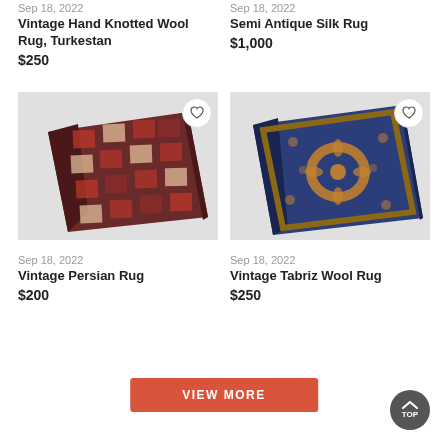Sep 18, 2022
Vintage Hand Knotted Wool Rug, Turkestan
$250
Sep 18, 2022
Semi Antique Silk Rug
$1,000
[Figure (photo): Vintage Persian Rug - a colorful patchwork style rug with red and dark tones, slightly tilted view]
[Figure (photo): Vintage Tabriz Wool Rug - dark blue rug with central medallion floral pattern and ornate border]
Sep 18, 2022
Vintage Persian Rug
$200
Sep 18, 2022
Vintage Tabriz Wool Rug
$250
VIEW MORE